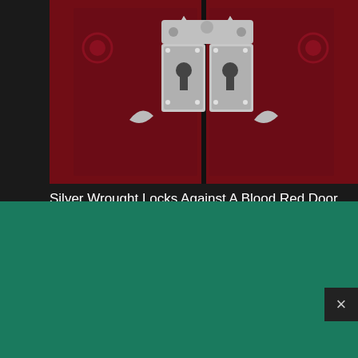[Figure (photo): Silver wrought iron locks/hardware against a blood red door background]
Silver Wrought Locks Against A Blood Red Door
High resolution download ↓
[Figure (photo): Close-up of open book pages]
[Figure (logo): Shopify logo with bag icon and italic wordmark]
Need an online store for your business?
Start free trial